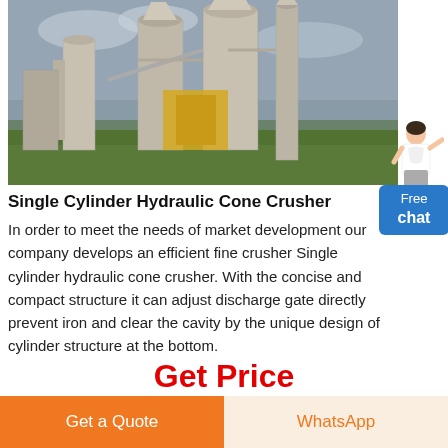[Figure (photo): Industrial single cylinder hydraulic cone crusher facility with large metal silos, pipes, and conveyor structures surrounded by vegetation and a cloudy sky.]
Single Cylinder Hydraulic Cone Crusher
In order to meet the needs of market development our company develops an efficient fine crusher Single cylinder hydraulic cone crusher. With the concise and compact structure it can adjust discharge gate directly prevent iron and clear the cavity by the unique design of cylinder structure at the bottom.
Get Price
Get a Quote
WhatsApp